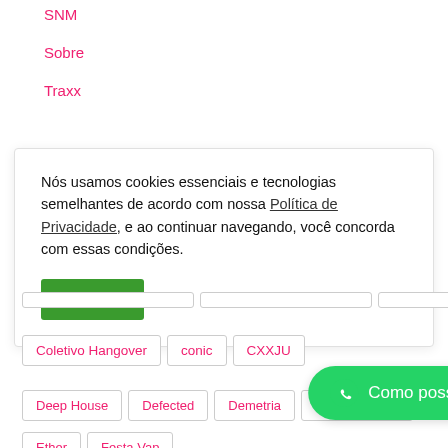SNM
Sobre
Traxx
Nós usamos cookies essenciais e tecnologias semelhantes de acordo com nossa Política de Privacidade, e ao continuar navegando, você concorda com essas condições.
Aceitar
Coletivo Hangover
conic
CXXJU
Deep House
Defected
Demetria
Detroit Techno
Ether
Festa Vap
Como posso te ajudar?